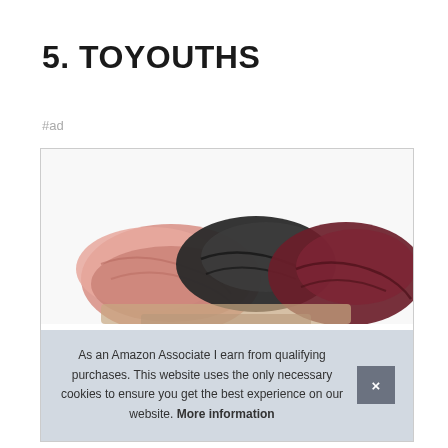5. TOYOUTHS
#ad
[Figure (photo): Product photo showing colorful hair scrunchies (pink, black, dark red/maroon) stacked together, partially visible with hands holding them at the bottom. Displayed inside a bordered product listing box.]
As an Amazon Associate I earn from qualifying purchases. This website uses the only necessary cookies to ensure you get the best experience on our website. More information